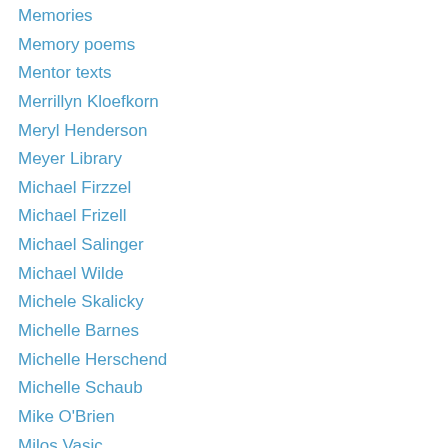Memories
Memory poems
Mentor texts
Merrillyn Kloefkorn
Meryl Henderson
Meyer Library
Michael Firzzel
Michael Frizell
Michael Salinger
Michael Wilde
Michele Skalicky
Michelle Barnes
Michelle Herschend
Michelle Schaub
Mike O'Brien
Milos Vasic
Mimi Cross
mini-mini-book reviews
Miss Grubb
Mississippi River